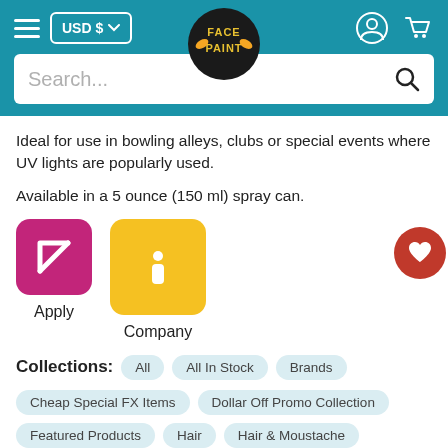Face Paint shop header with hamburger menu, USD $ currency selector, Face Paint logo, user icon, and cart icon
Ideal for use in bowling alleys, clubs or special events where UV lights are popularly used.
Available in a 5 ounce (150 ml) spray can.
[Figure (illustration): Purple square icon with white stylized K/apply logo and yellow square icon with white letter i (info icon), with heart button overlay. Labels: Apply, Company]
Collections:
All
All In Stock
Brands
Cheap Special FX Items
Dollar Off Promo Collection
Featured Products
Hair
Hair & Moustache
Halloween
Halloween Hair Color
In Stock Only
Kryolan